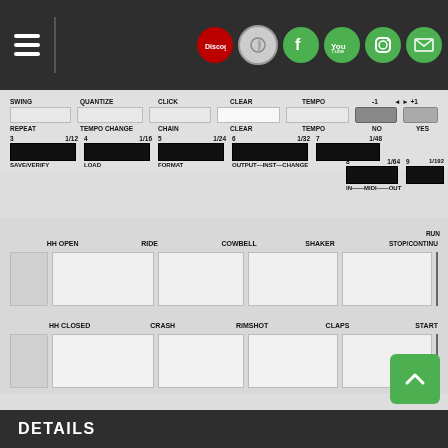Navigation header with hamburger menu and social icons: Discogs, Facebook, YouTube, Instagram, Mail
[Figure (screenshot): Drum machine / sequencer control panel showing buttons and labels: SWING, QUANTIZE, CLICK, CLEAR, TEMPO, -1, +1 controls; REPEAT, TEMPO CHANGE, CHAIN, CLEAR, TEMPO, NO, YES; numbered steps 3-9 with fractions 1/12, 1/16, 1/24, 1/32, 1/48, 1/64, 1/192; SAVE/VERIFY, LOAD, FORMAT, OUTPUT-INST-CHANGE, IN--MIDI--OUT; RUN, STOP/CONTINUE; HH OPEN, RIDE, COWBELL, SHAKER, HH CLOSED, CRASH, RIMSHOT, CLAPS, START pad buttons]
DETAILS